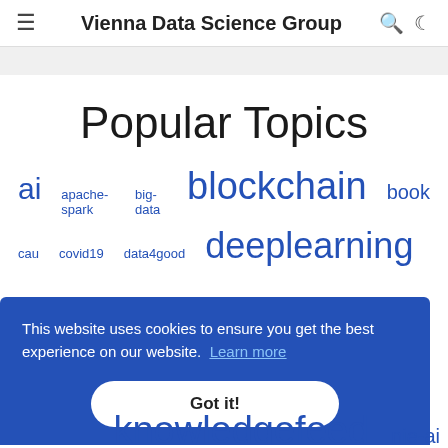Vienna Data Science Group
Popular Topics
ai   apache-spark   big-data   blockchain   book
cau   covid19   data4good   deeplearning
This website uses cookies to ensure you get the best experience on our website. Learn more   Got it!
knowledgefeed   nie-ai   hackathon